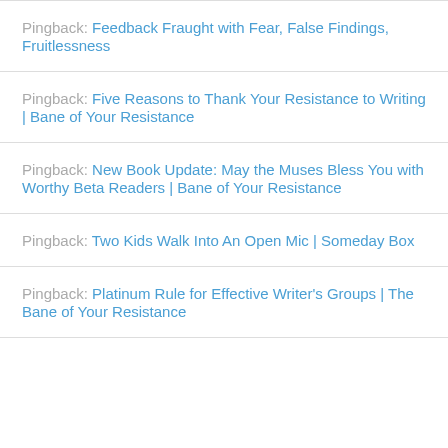Pingback: Feedback Fraught with Fear, False Findings, Fruitlessness
Pingback: Five Reasons to Thank Your Resistance to Writing | Bane of Your Resistance
Pingback: New Book Update: May the Muses Bless You with Worthy Beta Readers | Bane of Your Resistance
Pingback: Two Kids Walk Into An Open Mic | Someday Box
Pingback: Platinum Rule for Effective Writer's Groups | The Bane of Your Resistance